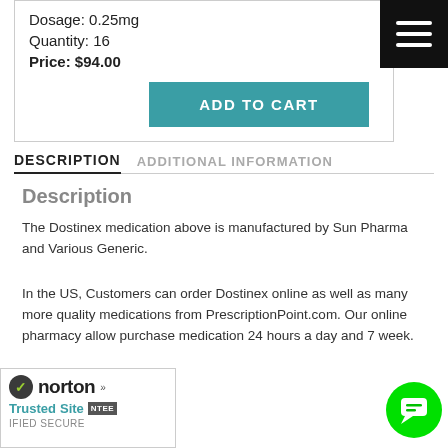Dosage: 0.25mg
Quantity: 16
Price: $94.00
DESCRIPTION
ADDITIONAL INFORMATION
Description
The Dostinex medication above is manufactured by Sun Pharma and Various Generic.
In the US, Customers can order Dostinex online as well as many more quality medications from PrescriptionPoint.com. Our online pharmacy allow purchase medication 24 hours a day and 7 week.